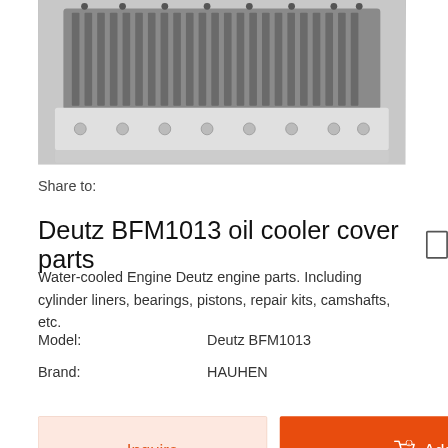[Figure (photo): Close-up photo of a Deutz BFM1013 oil cooler cover part, showing a grey/silver metal engine component with ribbed fins and bolt holes, viewed from above.]
Share to:
Deutz BFM1013 oil cooler cover parts
Water-cooled Engine Deutz engine parts. Including cylinder liners, bearings, pistons, repair kits, camshafts, etc.
Model:    Deutz BFM1013
Brand:    HAUHEN
Inquire
Add to Basket
Product Description